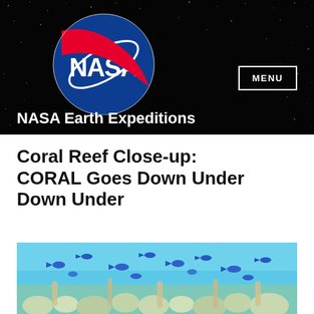[Figure (screenshot): NASA website header with black starry space background, NASA meatball logo on left, MENU button on right, and 'NASA Earth Expeditions' site title in white bold text at bottom left]
Coral Reef Close-up: CORAL Goes Down Under Down Under
[Figure (photo): Underwater photograph of a coral reef with blue tropical fish swimming above colorful coral formations in clear blue water]